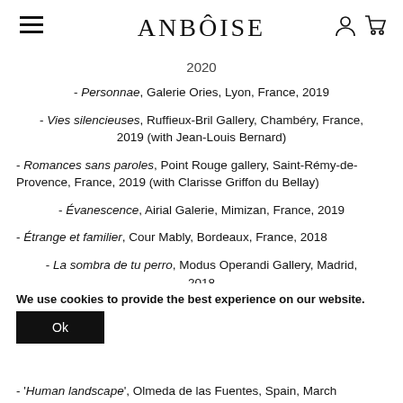ANBÔISE
2020
- Personnae, Galerie Ories, Lyon, France, 2019
- Vies silencieuses, Ruffieux-Bril Gallery, Chambéry, France, 2019 (with Jean-Louis Bernard)
- Romances sans paroles, Point Rouge gallery, Saint-Rémy-de-Provence, France, 2019 (with Clarisse Griffon du Bellay)
- Évanescence, Airial Galerie, Mimizan, France, 2019
- Étrange et familier, Cour Mably, Bordeaux, France, 2018
- La sombra de tu perro, Modus Operandi Gallery, Madrid, 2018
- Dans ce rien de jour, Première ligne Gallery, Bordeaux, France, 2018
We use cookies to provide the best experience on our website.
- 'Human landscape', Olmeda de las Fuentes, Spain, March